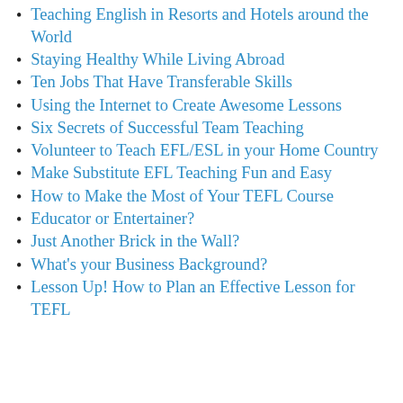Teaching English in Resorts and Hotels around the World
Staying Healthy While Living Abroad
Ten Jobs That Have Transferable Skills
Using the Internet to Create Awesome Lessons
Six Secrets of Successful Team Teaching
Volunteer to Teach EFL/ESL in your Home Country
Make Substitute EFL Teaching Fun and Easy
How to Make the Most of Your TEFL Course
Educator or Entertainer?
Just Another Brick in the Wall?
What's your Business Background?
Lesson Up! How to Plan an Effective Lesson for TEFL